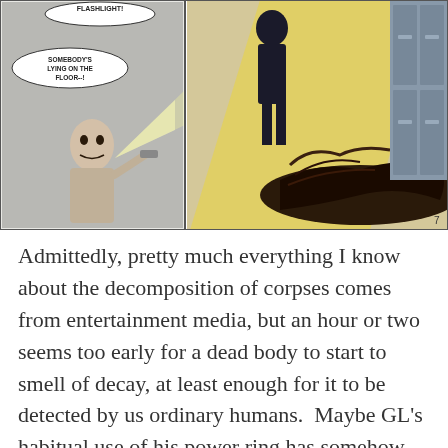[Figure (illustration): Comic book panels showing a man shining a flashlight with speech bubbles saying 'FLASHLIGHT!' and 'SOMEBODY'S LYING ON THE FLOOR--!' On the right panel, a figure in black stands over a body lying on the floor illuminated by a beam of yellow light. Page number 7 in bottom right.]
Admittedly, pretty much everything I know about the decomposition of corpses comes from entertainment media, but an hour or two seems too early for a dead body to start to smell of decay, at least enough for it to be detected by us ordinary humans.  Maybe GL's habitual use of his power ring has somehow had the side effect of granting him a preternaturally keen sense of smell, like a